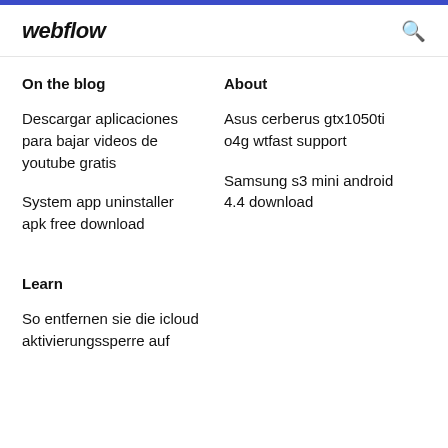webflow
On the blog
About
Descargar aplicaciones para bajar videos de youtube gratis
System app uninstaller apk free download
Asus cerberus gtx1050ti o4g wtfast support
Samsung s3 mini android 4.4 download
Learn
So entfernen sie die icloud aktivierungssperre auf